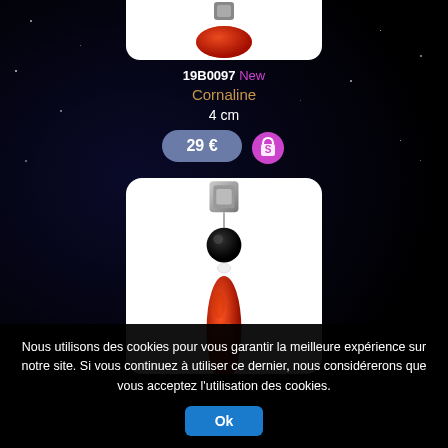[Figure (photo): Top portion of a red/dark pendant product photo on white background]
19B0097 New
Cornaline
4 cm
29 €
[Figure (photo): A jewelry pendant with silver clasp, black bead, white bead, and elongated red coral/stone piece on white background]
Nous utilisons des cookies pour vous garantir la meilleure expérience sur notre site. Si vous continuez à utiliser ce dernier, nous considérerons que vous acceptez l'utilisation des cookies.
Ok